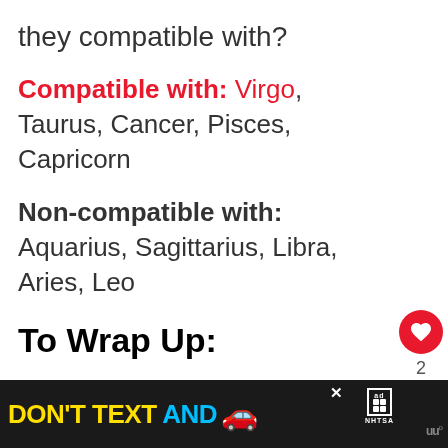they compatible with?
Compatible with: Virgo, Taurus, Cancer, Pisces, Capricorn
Non-compatible with: Aquarius, Sagittarius, Libra, Aries, Leo
To Wrap Up:
After reading all of this, it's not l… conclude that a Gemini and a Scorpio a…
[Figure (other): Advertisement banner: DON'T TEXT AND [car emoji] with ad and NHTSA logos]
[Figure (other): What's Next card showing Libra And Scorpio... article thumbnail with couple photo]